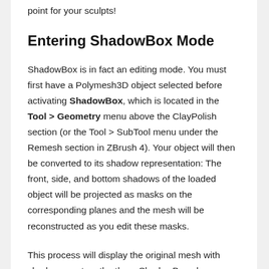point for your sculpts!
Entering ShadowBox Mode
ShadowBox is in fact an editing mode. You must first have a Polymesh3D object selected before activating ShadowBox, which is located in the Tool > Geometry menu above the ClayPolish section (or the Tool > SubTool menu under the Remesh section in ZBrush 4). Your object will then be converted to its shadow representation: The front, side, and bottom shadows of the loaded object will be projected as masks on the corresponding planes and the mesh will be reconstructed as you edit these masks.
This process will display the original mesh with shadows cast on the three ShadowBox planes. This is however dependent upon the Resolution set before activating